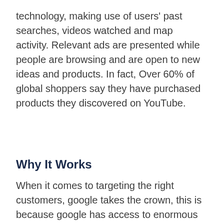technology, making use of users' past searches, videos watched and map activity. Relevant ads are presented while people are browsing and are open to new ideas and products. In fact, Over 60% of global shoppers say they have purchased products they discovered on YouTube.
Why It Works
When it comes to targeting the right customers, google takes the crown, this is because google has access to enormous data about every internet user, this includes, were we live, were we work, places we visit, our online activities, our age and interests, our